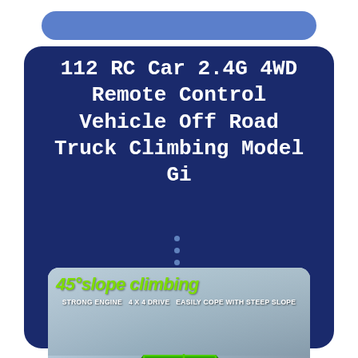112 RC Car 2.4G 4WD Remote Control Vehicle Off Road Truck Climbing Model Gi
[Figure (photo): Product image of a green RC off-road truck with text '45°slope climbing' and 'STRONG ENGINE  4X4 DRIVE  EASILY COPE WITH STEEP SLOPE']